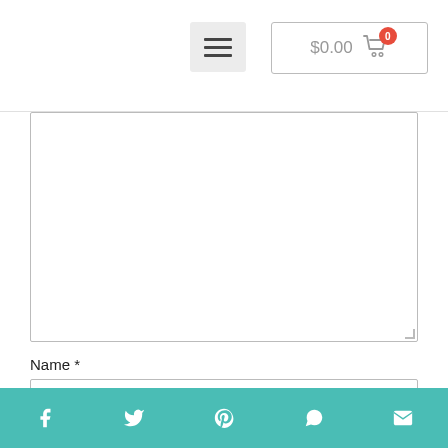$0.00  0
Name *
Email *
Website
Social icons: facebook, twitter, pinterest, whatsapp, email